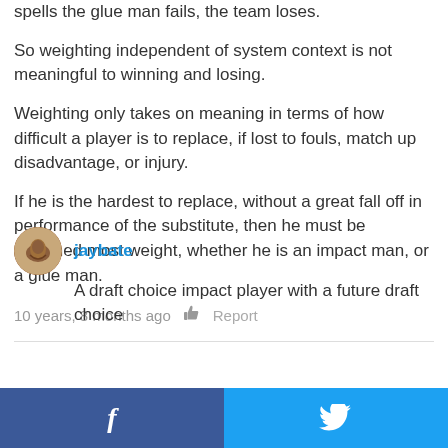spells the glue man fails, the team loses.
So weighting independent of system context is not meaningful to winning and losing.
Weighting only takes on meaning in terms of how difficult a player is to replace, if lost to fouls, match up disadvantage, or injury.
If he is the hardest to replace, without a great fall off in performance of the substitute, then he must be assigned most weight, whether he is an impact man, or a glue man.
10 years, 8 months ago   👍   Report
jaybate
A draft choice impact player with a future draft choice